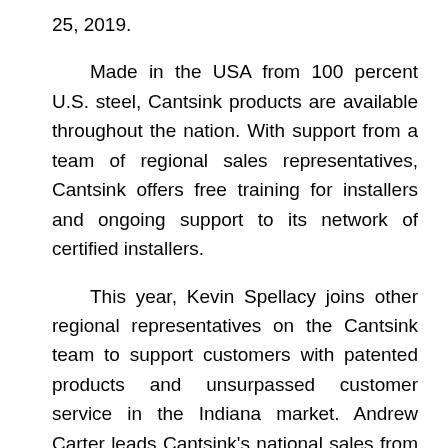25, 2019.
Made in the USA from 100 percent U.S. steel, Cantsink products are available throughout the nation. With support from a team of regional sales representatives, Cantsink offers free training for installers and ongoing support to its network of certified installers.
This year, Kevin Spellacy joins other regional representatives on the Cantsink team to support customers with patented products and unsurpassed customer service in the Indiana market. Andrew Carter leads Cantsink's national sales from its Atlanta headquarters. He also works in concert with Dara Macias, covering Tennessee and hurricane recovery areas of the